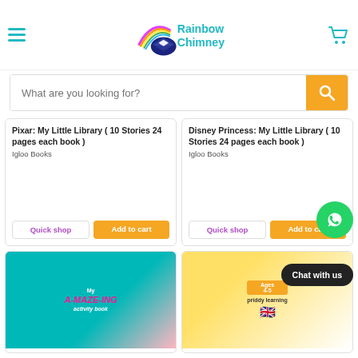[Figure (logo): Rainbow Chimney logo with rainbow and books icon, teal text]
What are you looking for?
Pixar: My Little Library ( 10 Stories 24 pages each book )
Igloo Books
Quick shop
Add to cart
Disney Princess: My Little Library ( 10 Stories 24 pages each book )
Igloo Books
Quick shop
Add to cart
[Figure (photo): My A-Maze-Ing activity book cover, teal background with pink maze text]
[Figure (photo): Priddy Learning book cover for ages 4-5 with colorful border and UK flag]
Chat with us